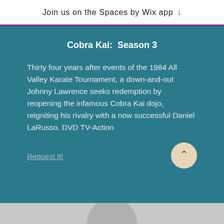Join us on the Spaces by Wix app
Cobra Kai:  Season 3
Thirty four years after events of the 1984 All Valley Karate Tournament, a down-and-out Johnny Lawrence seeks redemption by reopening the infamous Cobra Kai dojo, reigniting his rivalry with a now successful Daniel LaRusso. DVD TV-Action
Request It!
[Figure (photo): Bottom portion of a person's face/head visible at the bottom of the page]